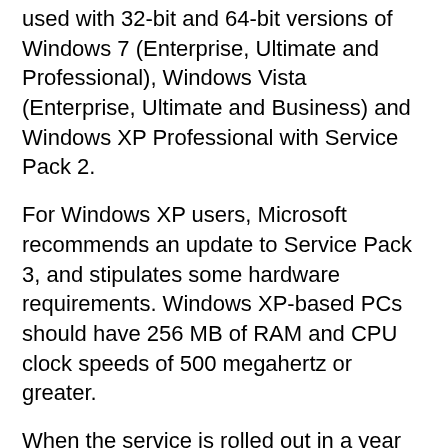used with 32-bit and 64-bit versions of Windows 7 (Enterprise, Ultimate and Professional), Windows Vista (Enterprise, Ultimate and Business) and Windows XP Professional with Service Pack 2.
For Windows XP users, Microsoft recommends an update to Service Pack 3, and stipulates some hardware requirements. Windows XP-based PCs should have 256 MB of RAM and CPU clock speeds of 500 megahertz or greater.
When the service is rolled out in a year or so, customers will have to be Windows Professional edition or Business edition licensees to use it, Skinner said. Subscriptions will be offered through Microsoft's Online Services portal and Microsoft's partners also will be able to sign up customers.
Skinner suggested that Windows Intune would provide opportunities for Microsoft's partners,